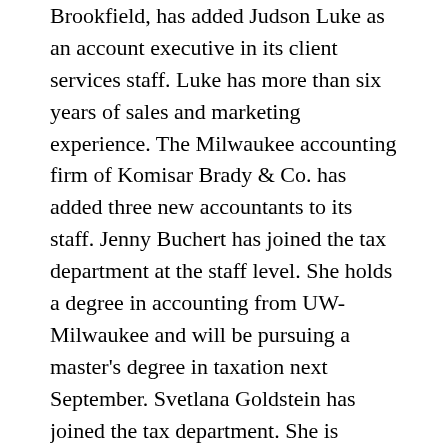Brookfield, has added Judson Luke as an account executive in its client services staff. Luke has more than six years of sales and marketing experience. The Milwaukee accounting firm of Komisar Brady & Co. has added three new accountants to its staff. Jenny Buchert has joined the tax department at the staff level. She holds a degree in accounting from UW-Milwaukee and will be pursuing a master's degree in taxation next September. Svetlana Goldstein has joined the tax department. She is pursuing her master's degree in accounting at UW-Milwaukee and anticipates an August 2003 graduation. The firm also has announced several promotions. Yulia Vlasik was promoted from staff accountant to senior accountant. She holds a degree